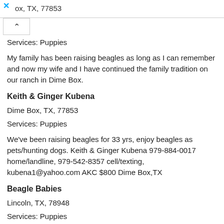ox, TX, 77853
Services: Puppies
My family has been raising beagles as long as I can remember and now my wife and I have continued the family tradition on our ranch in Dime Box.
Keith & Ginger Kubena
Dime Box, TX, 77853
Services: Puppies
We've been raising beagles for 33 yrs, enjoy beagles as pets/hunting dogs. Keith & Ginger Kubena 979-884-0017 home/landline, 979-542-8357 cell/texting, kubena1@yahoo.com AKC $800 Dime Box,TX
Beagle Babies
Lincoln, TX, 78948
Services: Puppies